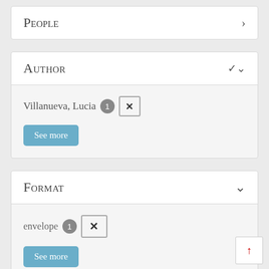People
Author
Villanueva, Lucia 1 ×
See more
Format
envelope 1 ×
See more
Location